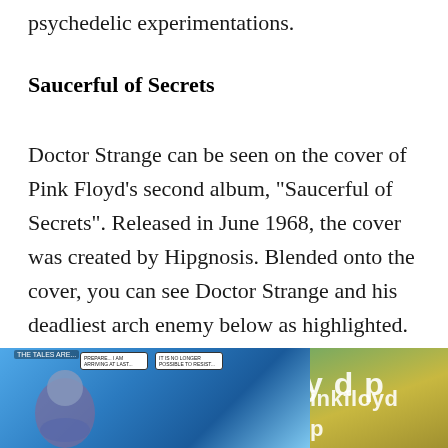psychedelic experimentations.
Saucerful of Secrets
Doctor Strange can be seen on the cover of Pink Floyd's second album, "Saucerful of Secrets". Released in June 1968, the cover was created by Hipgnosis. Blended onto the cover, you can see Doctor Strange and his deadliest arch enemy below as highlighted.
[Figure (photo): Side-by-side images: left shows a Doctor Strange comic panel with speech bubbles on a blue background; right shows partial Pink Floyd album text 'y d pinkfloyd p' on a green/gold textured background.]